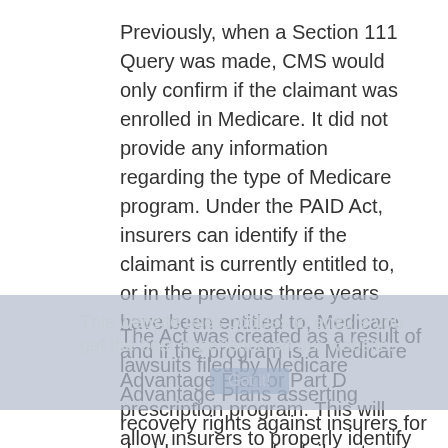Previously, when a Section 111 Query was made, CMS would only confirm if the claimant was enrolled in Medicare. It did not provide any information regarding the type of Medicare program. Under the PAID Act, insurers can identify if the claimant is currently entitled to, or in the previous three years have been entitled to, Medicare and if the program is a Medicare Advantage Plan or Part D prescription program. This will allow insurers to properly identify applicable plans and issue primary payment or reimbursement of qualifying payments.
The Act was created as a result of lawsuits filed by Medicare Advantage Plans asserting recovery rights against insurers for double recovery, for failure to provide primary payment or reimbursement for qualifying charges.[2] The PAID Act will allow insurers to better identify the